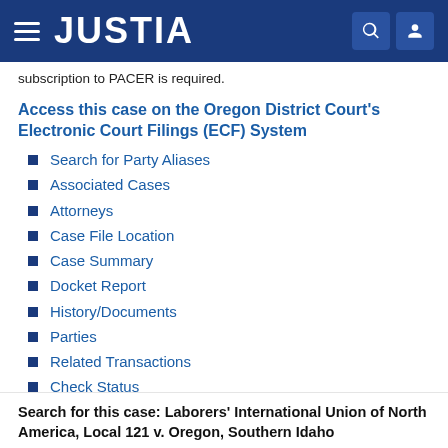JUSTIA
subscription to PACER is required.
Access this case on the Oregon District Court's Electronic Court Filings (ECF) System
Search for Party Aliases
Associated Cases
Attorneys
Case File Location
Case Summary
Docket Report
History/Documents
Parties
Related Transactions
Check Status
Search for this case: Laborers' International Union of North America, Local 121 v. Oregon, Southern Idaho...